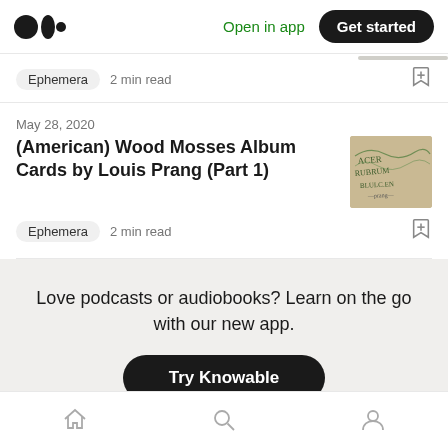Medium logo | Open in app | Get started
Ephemera  2 min read
May 28, 2020
(American) Wood Mosses Album Cards by Louis Prang (Part 1)
[Figure (photo): Thumbnail image of wood mosses album card with handwritten text]
Ephemera  2 min read
Love podcasts or audiobooks? Learn on the go with our new app.
Try Knowable
Home | Search | Profile